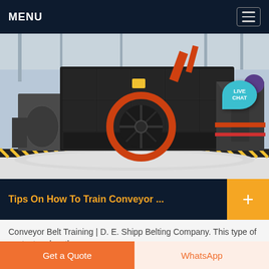MENU
[Figure (photo): Large industrial impact crusher / screening machine in a factory hall. The machine is black with metal plates and bolts, featuring a prominent orange-ringed flywheel on the front. Set on white aggregate/gravel, with yellow and black safety striping along the base. Additional crusher equipment visible in background.]
Tips On How To Train Conveyor ...
Conveyor Belt Training | D. E. Shipp Belting Company. This type of contact makes the